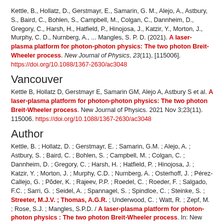Kettle, B., Hollatz, D., Gerstmayr, E., Samarin, G. M., Alejo, A., Astbury, S., Baird, C., Bohlen, S., Campbell, M., Colgan, C., Dannheim, D., Gregory, C., Harsh, H., Hatfield, P., Hinojosa, J., Katzir, Y., Morton, J., Murphy, C. D., Nurnberg, A., ... Mangles, S. P. D. (2021). A laser-plasma platform for photon-photon physics: The two photon Breit-Wheeler process. New Journal of Physics, 23(11), [115006]. https://doi.org/10.1088/1367-2630/ac3048
Vancouver
Kettle B, Hollatz D, Gerstmayr E, Samarin GM, Alejo A, Astbury S et al. A laser-plasma platform for photon-photon physics: The two photon Breit-Wheeler process. New Journal of Physics. 2021 Nov 3;23(11). 115006. https://doi.org/10.1088/1367-2630/ac3048
Author
Kettle, B. ; Hollatz, D. ; Gerstmayr, E. ; Samarin, G.M. ; Alejo, A. ; Astbury, S. ; Baird, C. ; Bohlen, S. ; Campbell, M. ; Colgan, C. ; Dannheim, D. ; Gregory, C. ; Harsh, H. ; Hatfield, P. ; Hinojosa, J. ; Katzir, Y. ; Morton, J. ; Murphy, C.D. ; Nurnberg, A. ; Osterhoff, J. ; Pérez-Callejo, G. ; Põder, K. ; Rajeev, P.P. ; Roedel, C. ; Roeder, F. ; Salgado, F.C. ; Sarri, G. ; Seidel, A. ; Spannagel, S. ; Spindloe, C. ; Steinke, S. ; Streeter, M.J.V. ; Thomas, A.G.R. ; Underwood, C. ; Watt, R. ; Zepf, M. ; Rose, S.J. ; Mangles, S.P.D. / A laser-plasma platform for photon-photon physics : The two photon Breit-Wheeler process. In: New Journal of Physics. 2021 ; Vol. 23, No. 11.